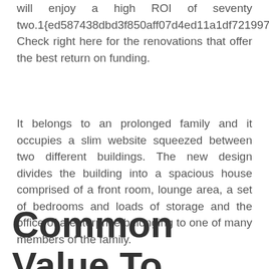will enjoy a high ROI of seventy two.1{ed587438dbd3f850aff07d4ed11a1df7219973fd Check right here for the renovations that offer the best return on funding.
It belongs to an prolonged family and it occupies a slim website squeezed between two different buildings. The new design divides the building into a spacious house comprised of a front room, lounge area, a set of bedrooms and loads of storage and the office of a enterprise belonging to one of many members of the family.
Common Value To Transform &